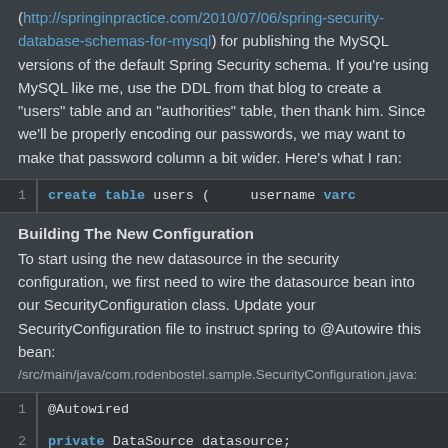(http://springinpractice.com/2010/07/06/spring-security-database-schemas-for-mysql) for publishing the MySQL versions of the default Spring Security schema. If you're using MySQL like me, use the DDL from that blog to create a "users" table and an "authorities" table, then thank him. Since we'll be properly encoding our passwords, we may want to make that password column a bit wider. Here's what I ran:
[Figure (screenshot): Code snippet line 1: create table users ( username varc]
Building The New Configuration
To start using the new datasource in the security configuration, we first need to wire the datasource bean into our SecurityConfiguration class. Update your SecurityConfiguration file to instruct spring to @Autowire this bean:
/src/main/java/com.rodenbostel.sample.SecurityConfiguration.java:
[Figure (screenshot): Code snippet lines 1-2: @Autowired / private DataSource datasource;]